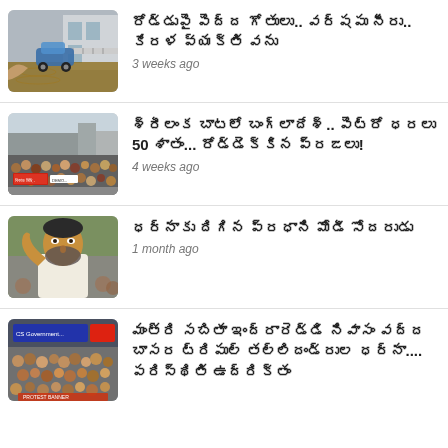[Figure (photo): Flooded road with a car and building in background]
రోడ్డుపై పెద్ద గోతులు.. వర్షపు నీరు.. కేరళ వ్యక్తి వను
3 weeks ago
[Figure (photo): Large crowd of protesters on a street with banners]
శ్రీలంక బాటలో బంగ్లాదేశ్.. పెట్రో ధరలు 50 శాతం... రోడ్డెక్కిన ప్రజలు!
4 weeks ago
[Figure (photo): Elderly man in white kurta with crowd in background]
ధర్నాకు దిగిన ప్రధాని మోడీ సోదరుడు
1 month ago
[Figure (photo): Crowd gathered outside a building with signs]
మంత్రి సబితా ఇంద్రారెడ్డి నివాసం వద్ద బాసర ట్రిపుల్ తల్లిదండ్రుల ధర్నా.... పరిస్థితి ఉద్రిక్తం